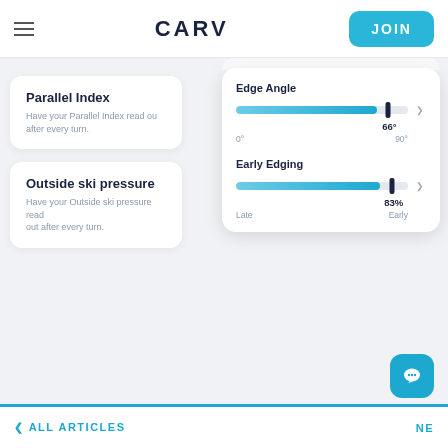CARV | JOIN
Parallel Index
Have your Parallel Index read out after every turn.
Outside ski pressure
Have your Outside ski pressure read out after every turn.
[Figure (infographic): Edge Angle slider showing 66 degrees on a scale from 0 to 90 degrees. Early Edging slider showing 83% on a scale from Late to Early.]
< ALL ARTICLES   NE